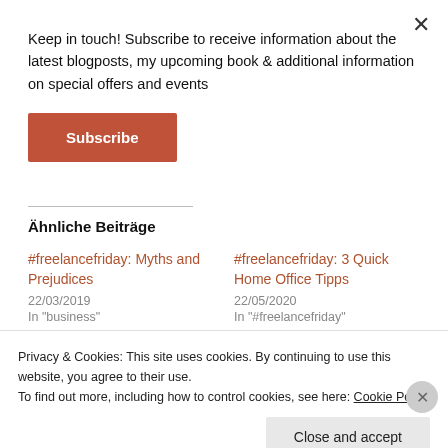Keep in touch! Subscribe to receive information about the latest blogposts, my upcoming book & additional information on special offers and events
Subscribe
Ähnliche Beiträge
#freelancefriday: Myths and Prejudices
22/03/2019
In "business"
#freelancefriday: 3 Quick Home Office Tipps
22/05/2020
In "#freelancefriday"
Privacy & Cookies: This site uses cookies. By continuing to use this website, you agree to their use.
To find out more, including how to control cookies, see here: Cookie Policy
Close and accept